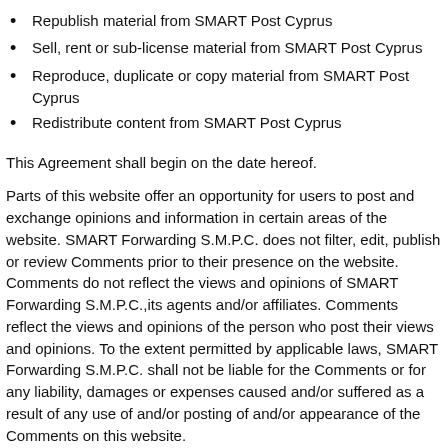Republish material from SMART Post Cyprus
Sell, rent or sub-license material from SMART Post Cyprus
Reproduce, duplicate or copy material from SMART Post Cyprus
Redistribute content from SMART Post Cyprus
This Agreement shall begin on the date hereof.
Parts of this website offer an opportunity for users to post and exchange opinions and information in certain areas of the website. SMART Forwarding S.M.P.C. does not filter, edit, publish or review Comments prior to their presence on the website. Comments do not reflect the views and opinions of SMART Forwarding S.M.P.C.,its agents and/or affiliates. Comments reflect the views and opinions of the person who post their views and opinions. To the extent permitted by applicable laws, SMART Forwarding S.M.P.C. shall not be liable for the Comments or for any liability, damages or expenses caused and/or suffered as a result of any use of and/or posting of and/or appearance of the Comments on this website.